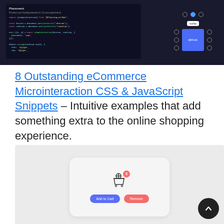[Figure (screenshot): Screenshot of a dark-themed code editor showing JavaScript import/placement code on the left, and a UI preview panel with dots, tooltip, and a blue box on the right]
8 Outstanding eCommerce Microinteraction CSS & JavaScript Snippets – Intuitive examples that add something extra to the online shopping experience.
[Figure (screenshot): Screenshot of an eCommerce microinteraction UI demo showing a shopping cart icon with a badge showing '3', and two buttons: 'Add to Cart' (blue) and 'Remove' (red/pink), on a light gray background. A dark circular back-to-top button with an up arrow is in the bottom right.]